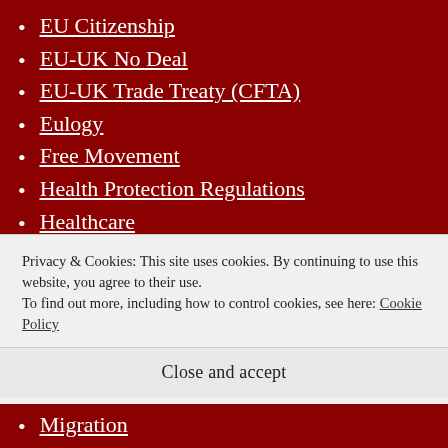EU Citizenship
EU-UK No Deal
EU-UK Trade Treaty (CFTA)
Eulogy
Free Movement
Health Protection Regulations
Healthcare
Housing/Accommodation
Human Rights
Immigration and Social Security Co-ordination (EU Withdrawal) Bill
Privacy & Cookies: This site uses cookies. By continuing to use this website, you agree to their use.
To find out more, including how to control cookies, see here: Cookie Policy
Close and accept
Migration